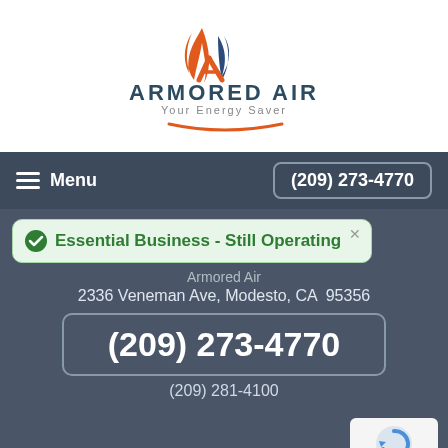[Figure (logo): Armored Air logo with orange and blue flame/letter A icon, company name 'ARMORED AIR' in dark teal, tagline 'Your Energy Saver' in gray, with orange swoosh beneath]
Menu
(209) 273-4770
Essential Business - Still Operating
Armored Air
2336 Veneman Ave, Modesto, CA  95356
(209) 273-4770
(209) 281-4100
Privacy Policy
[Figure (logo): Google reCAPTCHA badge with circular arrow icon, text 'Privacy - Terms']